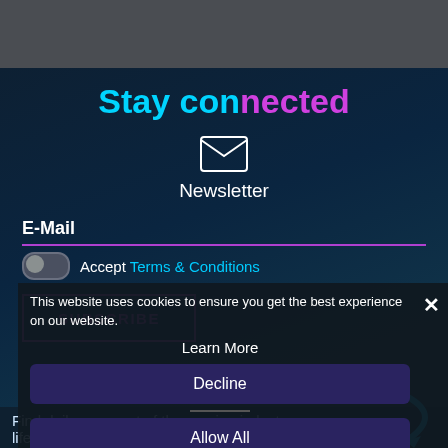[Figure (screenshot): Dark mountain/fog background at top]
Stay connected
[Figure (illustration): Envelope/mail icon above Newsletter label]
Newsletter
E-Mail
Accept Terms & Conditions
This website uses cookies to ensure you get the best experience on our website.
SUBSCRIBE
Learn More
Decline
Allow All
Find daily news out of the gaming industry or even lifestyle in